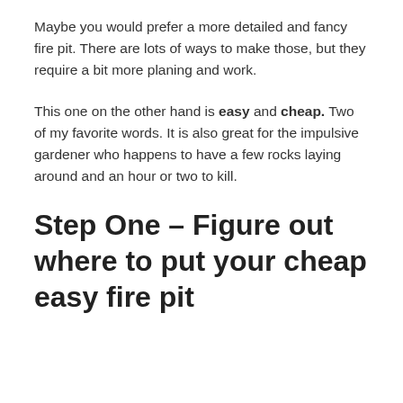Maybe you would prefer a more detailed and fancy fire pit. There are lots of ways to make those, but they require a bit more planing and work.
This one on the other hand is easy and cheap. Two of my favorite words. It is also great for the impulsive gardener who happens to have a few rocks laying around and an hour or two to kill.
Step One – Figure out where to put your cheap easy fire pit